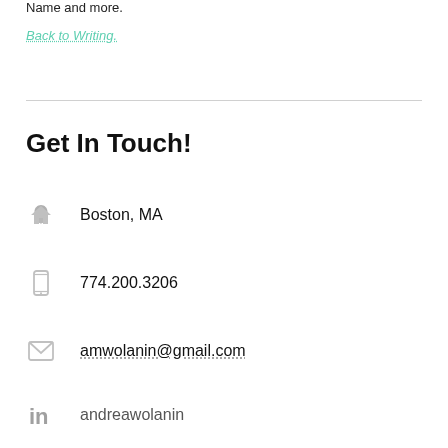Name and more.
Back to Writing.
Get In Touch!
Boston, MA
774.200.3206
amwolanin@gmail.com
andreawolanin
Andrea Wolanin